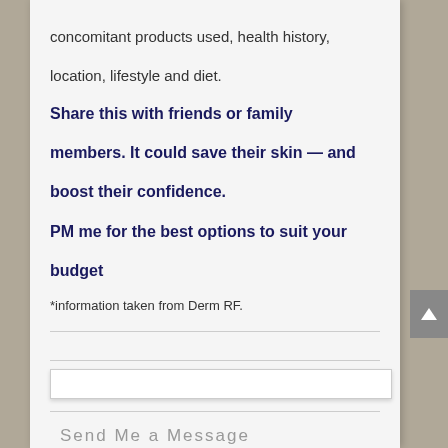concomitant products used, health history, location, lifestyle and diet.
Share this with friends or family members. It could save their skin — and boost their confidence.
PM me for the best options to suit your budget
*information taken from Derm RF.
Send Me a Message